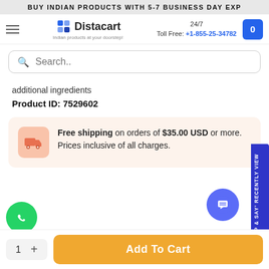BUY INDIAN PRODUCTS WITH 5-7 BUSINESS DAY EXP
[Figure (screenshot): Distacart e-commerce website navigation bar with logo, 24/7 Toll Free phone number +1-855-25-34782, and cart button]
Search..
additional ingredients
Product ID: 7529602
Free shipping on orders of $35.00 USD or more. Prices inclusive of all charges.
Add To Cart